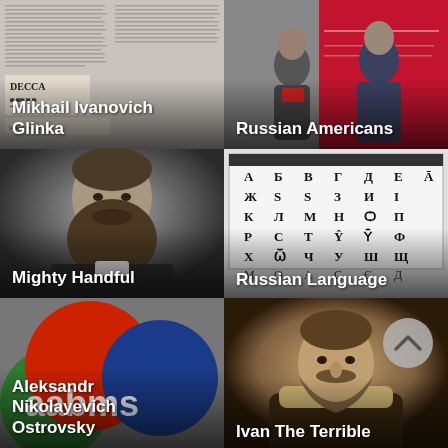[Figure (photo): Newspaper clipping with DECCA label and old Russian text, representing Mikhail Ivanovich Glinka]
Mikhail Ivanovich Glinka
[Figure (photo): Two women standing in front of a red banner at an event representing Russian Americans]
Russian Americans
[Figure (photo): Black and white portrait of a bearded man representing the Mighty Handful]
Mighty Handful
[Figure (photo): Chart of Cyrillic/Old Russian alphabet letters on a white background representing Russian Language]
Russian Language
[Figure (logo): AABMS logo with overlapping red, green, and blue circles with white text aabms representing Aleksandr Nikolayevich Ostrovsky]
Aleksandr Nikolayevich Ostrovsky
[Figure (illustration): Painting of Ivan The Terrible, bearded man in royal robes with scroll-up button overlay]
Ivan The Terrible